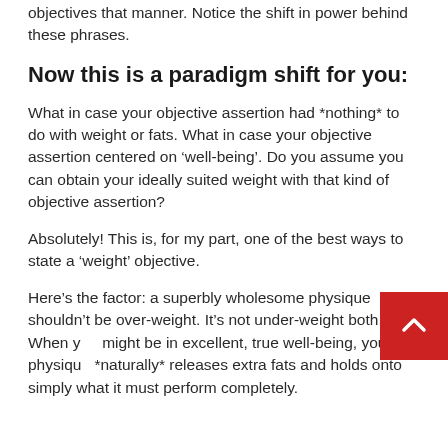objectives that manner. Notice the shift in power behind these phrases.
Now this is a paradigm shift for you:
What in case your objective assertion had *nothing* to do with weight or fats. What in case your objective assertion centered on ‘well-being’. Do you assume you can obtain your ideally suited weight with that kind of objective assertion?
Absolutely! This is, for my part, one of the best ways to state a ‘weight’ objective.
Here’s the factor: a superbly wholesome physique shouldn’t be over-weight. It’s not under-weight both. When you might be in excellent, true well-being, your physique *naturally* releases extra fats and holds onto simply what it must perform completely.